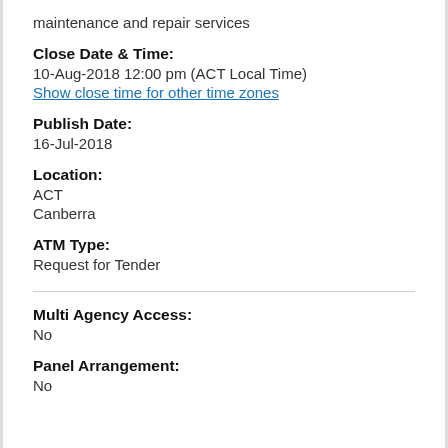maintenance and repair services
Close Date & Time:
10-Aug-2018 12:00 pm (ACT Local Time)
Show close time for other time zones
Publish Date:
16-Jul-2018
Location:
ACT
Canberra
ATM Type:
Request for Tender
Multi Agency Access:
No
Panel Arrangement:
No